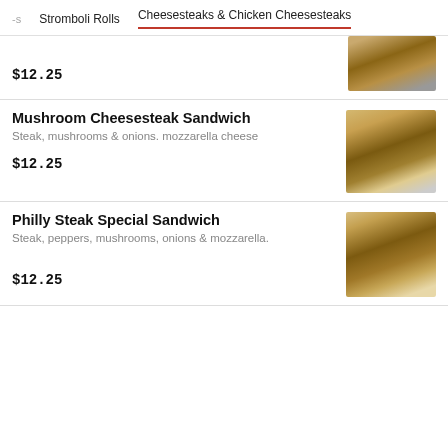Stromboli Rolls   Cheesesteaks & Chicken Cheesesteaks
$12.25
Mushroom Cheesesteak Sandwich
Steak, mushrooms & onions. mozzarella cheese
$12.25
Philly Steak Special Sandwich
Steak, peppers, mushrooms, onions & mozzarella.
$12.25